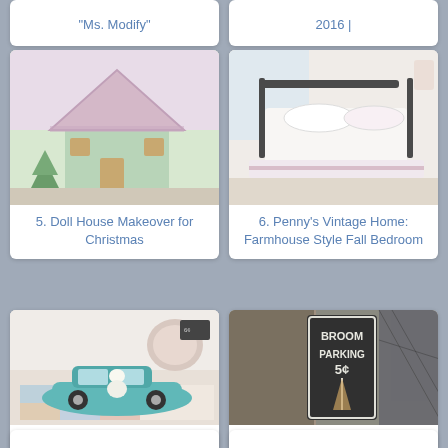"Ms. Modify"
2016 |
[Figure (photo): A decorated miniature dollhouse with green siding, pink roof, Christmas decorations and a Christmas tree beside it]
5. Doll House Makeover for Christmas
[Figure (photo): A white ruffled farmhouse style bedroom with iron bed frame, white bedding and pink ruffled bed skirt]
6. Penny's Vintage Home: Farmhouse Style Fall Bedroom
[Figure (photo): A teal vintage toy car with a snowman figurine on top, sitting on a colorful quilt, with a vintage plate and chalkboard in background]
7. Penny's Vintage Home: Weekend Treasure Hunt
[Figure (photo): A chalkboard sign reading BROOM PARKING 5 cents with a broom graphic, Halloween decoration]
8. Halloween Chalkboard